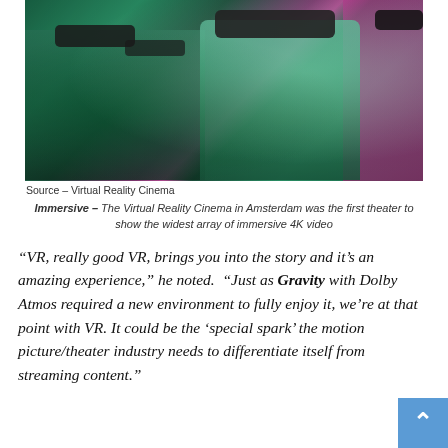[Figure (photo): People wearing virtual reality headsets seated in a theater environment with green and pink lighting. A man in a teal/mint sweater is prominently featured in the center.]
Source – Virtual Reality Cinema
Immersive – The Virtual Reality Cinema in Amsterdam was the first theater to show the widest array of immersive 4K video
“VR, really good VR, brings you into the story and it’s an amazing experience,” he noted. “Just as Gravity with Dolby Atmos required a new environment to fully enjoy it, we’re at that point with VR. It could be the ‘special spark’ the motion picture/theater industry needs to differentiate itself from streaming content.”